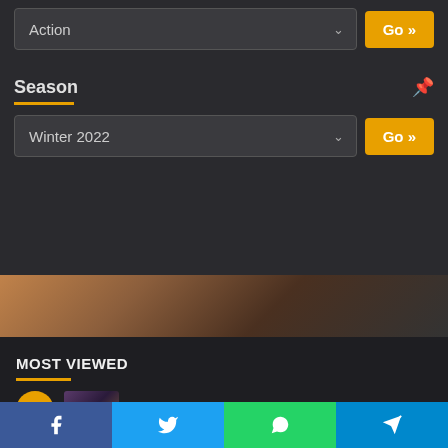Action
Season
Winter 2022
[Figure (screenshot): Partial anime scene image showing wooden floor/deck in warm brown tones]
MOST VIEWED
One Piece
[Figure (infographic): Social sharing bar with Facebook, Twitter, WhatsApp, and Telegram buttons]